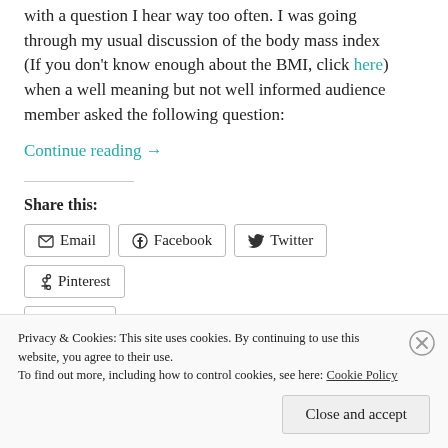with a question I hear way too often. I was going through my usual discussion of the body mass index (If you don't know enough about the BMI, click here) when a well meaning but not well informed audience member asked the following question:
Continue reading →
Share this:
Email  Facebook  Twitter  Pinterest  Tumblr
Loading...
Privacy & Cookies: This site uses cookies. By continuing to use this website, you agree to their use.
To find out more, including how to control cookies, see here: Cookie Policy
Close and accept